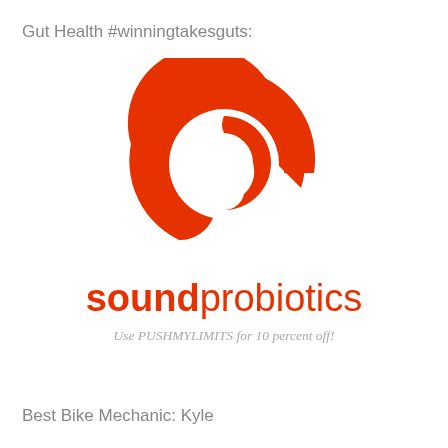Gut Health #winningtakesguts:
[Figure (logo): Sound Probiotics logo — a stylized orange-red double-S spiral symbol]
soundprobiotics
Use PUSHMYLIMITS for 10 percent off!
Best Bike Mechanic: Kyle